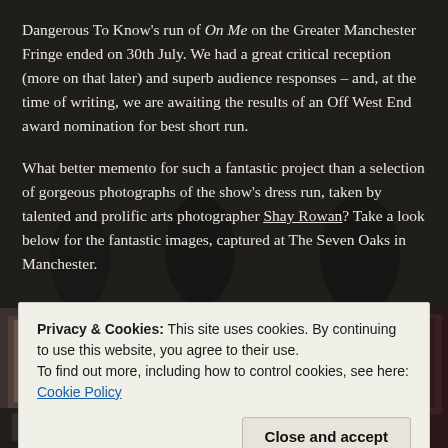Dangerous To Know's run of On Me on the Greater Manchester Fringe ended on 30th July. We had a great critical reception (more on that later) and superb audience responses – and, at the time of writing, we are awaiting the results of an Off West End award nomination for best short run.
What better memento for such a fantastic project than a selection of gorgeous photographs of the show's dress run, taken by talented and prolific arts photographer Shay Rowan? Take a look below for the fantastic images, captured at The Seven Oaks in Manchester.
[Figure (photo): Two theatre production photographs side by side, partially visible at the bottom of the page, dark background]
Privacy & Cookies: This site uses cookies. By continuing to use this website, you agree to their use.
To find out more, including how to control cookies, see here: Cookie Policy